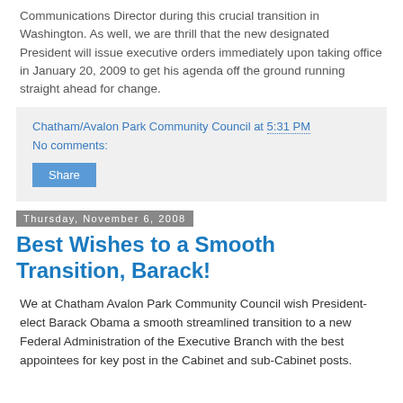Communications Director during this crucial transition in Washington. As well, we are thrill that the new designated President will issue executive orders immediately upon taking office in January 20, 2009 to get his agenda off the ground running straight ahead for change.
Chatham/Avalon Park Community Council at 5:31 PM
No comments:
Share
Thursday, November 6, 2008
Best Wishes to a Smooth Transition, Barack!
We at Chatham Avalon Park Community Council wish President-elect Barack Obama a smooth streamlined transition to a new Federal Administration of the Executive Branch with the best appointees for key post in the Cabinet and sub-Cabinet posts.